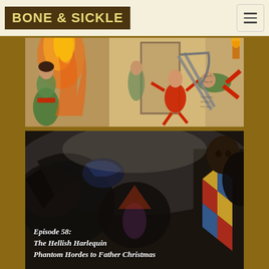BONE & SICKLE
[Figure (illustration): Historical illustration showing figures with fire, a woman in a green dress, harlequin characters jumping, large scissors/tongs, and text fragments from old print]
[Figure (photo): Dark dramatic painting of phantom hordes/creatures in chaos, with a harlequin figure in colorful costume on the right, overlaid with episode title text]
Episode 58: The Hellish Harlequin Phantom Hordes to Father Christmas